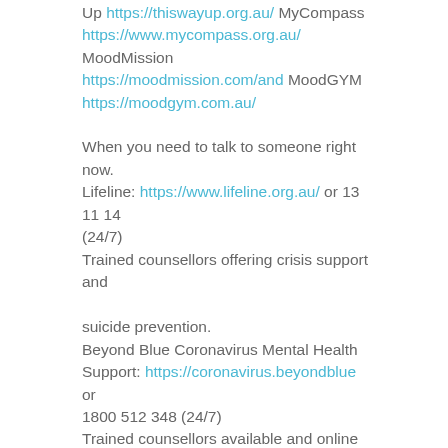Up https://thiswayup.org.au/ MyCompass https://www.mycompass.org.au/ MoodMission https://moodmission.com/and MoodGYM https://moodgym.com.au/
When you need to talk to someone right now. Lifeline: https://www.lifeline.org.au/ or 13 11 14 (24/7) Trained counsellors offering crisis support and suicide prevention. Beyond Blue Coronavirus Mental Health Support: https://coronavirus.beyondblue or 1800 512 348 (24/7) Trained counsellors available and online resources. Rainbow Door/Switchboard Victoria: